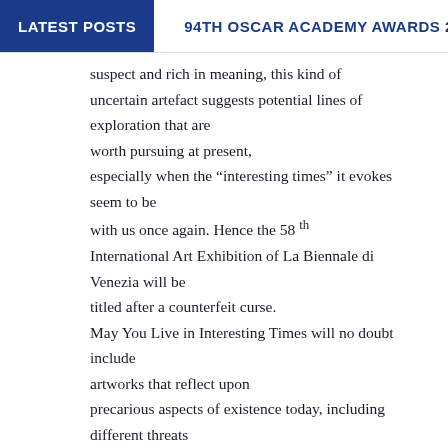LATEST POSTS   94TH OSCAR ACADEMY AWARDS 2022 PO
suspect and rich in meaning, this kind of uncertain artefact suggests potential lines of exploration that are worth pursuing at present, especially when the “interesting times” it evokes seem to be with us once again. Hence the 58 th International Art Exhibition of La Biennale di Venezia will be titled after a counterfeit curse. May You Live in Interesting Times will no doubt include artworks that reflect upon precarious aspects of existence today, including different threats to key traditions, institutions and relationships of the “post-war order.” But let us acknowledge at the outset that art does not exercise its forces in the domain of politics. Art cannot stem the rise of nationalist movements and authoritarian governments in different parts of the world, for